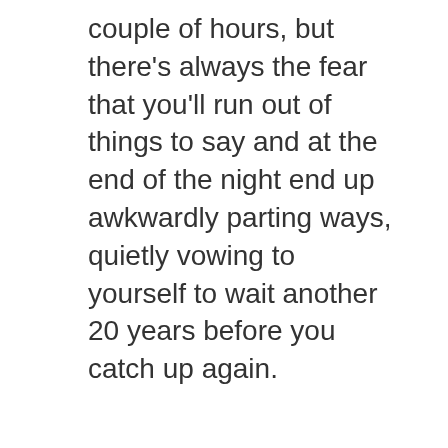couple of hours, but there's always the fear that you'll run out of things to say and at the end of the night end up awkwardly parting ways, quietly vowing to yourself to wait another 20 years before you catch up again.